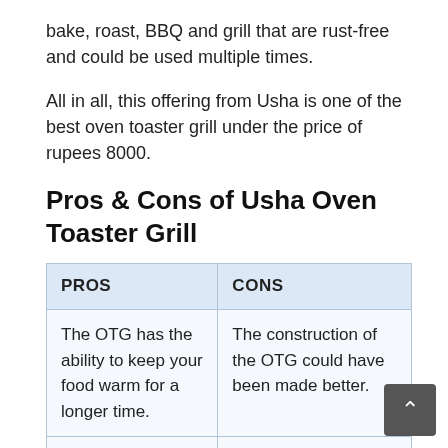bake, roast, BBQ and grill that are rust-free and could be used multiple times.
All in all, this offering from Usha is one of the best oven toaster grill under the price of rupees 8000.
Pros & Cons of Usha Oven Toaster Grill
| PROS | CONS |
| --- | --- |
| The OTG has the ability to keep your food warm for a longer time. | The construction of the OTG could have been made better. |